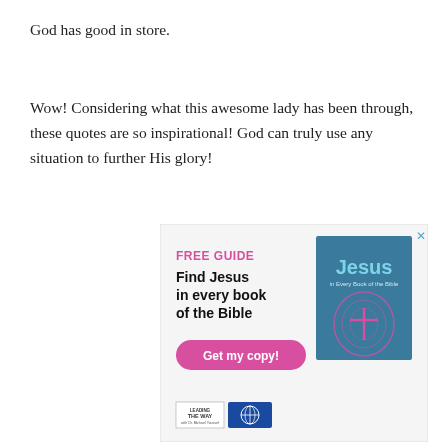God has good in store.
Wow! Considering what this awesome lady has been through, these quotes are so inspirational! God can truly use any situation to further His glory!
[Figure (infographic): Advertisement for a free guide titled 'Find Jesus in every book of the Bible' with a pink 'Get my copy!' button and a book cover showing 'Jesus in Every Book of the Bible'. Logos for Leading the Way ministry appear at the bottom.]